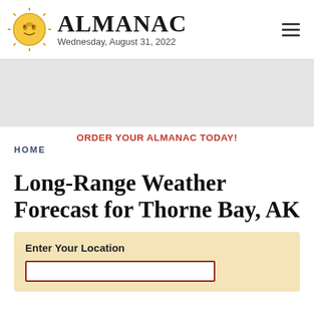ALMANAC — Wednesday, August 31, 2022
[Figure (other): Gray advertisement banner placeholder]
ORDER YOUR ALMANAC TODAY!
HOME
Long-Range Weather Forecast for Thorne Bay, AK
Enter Your Location